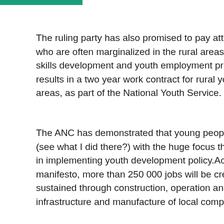The ruling party has also promised to pay attention to youth who are often marginalized in the rural areas, offering skills development and youth employment programmes that results in a two year work contract for rural youth in urban areas, as part of the National Youth Service.
The ANC has demonstrated that young people are important (see what I did there?) with the huge focus that they place in implementing youth development policy. According to their manifesto, more than 250 000 jobs will be created and sustained through construction, operation and maintenance of infrastructure and manufacture of local components.